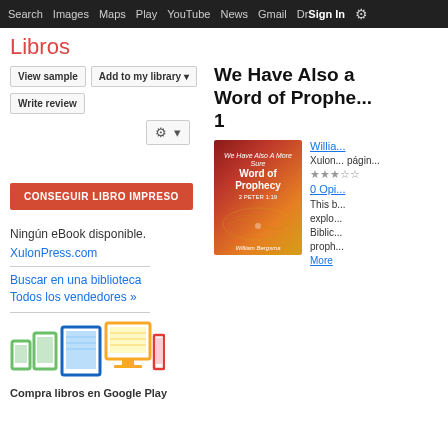Search  Images  Maps  Play  YouTube  News  Gmail  Drive  More  Sign In
Libros
View sample | Add to my library | Write review
CONSEGUIR LIBRO IMPRESO
Ningún eBook disponible.
XulonPress.com
Buscar en una biblioteca
Todos los vendedores »
Compra libros en Google Play
We Have Also a Word of Prophecy 1
[Figure (illustration): Book cover for 'We Have Also A More Sure Word of Prophecy 2 Peter 1:19' by William Bergsma, red/orange background with map]
Willia... Xulon... págin... ★★★ 0 Opi... This b... explo... Biblic... proph... More